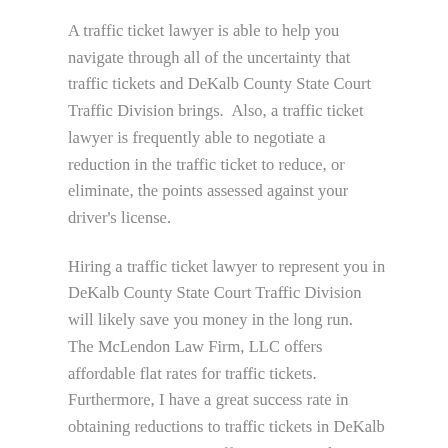A traffic ticket lawyer is able to help you navigate through all of the uncertainty that traffic tickets and DeKalb County State Court Traffic Division brings.  Also, a traffic ticket lawyer is frequently able to negotiate a reduction in the traffic ticket to reduce, or eliminate, the points assessed against your driver's license.
Hiring a traffic ticket lawyer to represent you in DeKalb County State Court Traffic Division will likely save you money in the long run.  The McLendon Law Firm, LLC offers affordable flat rates for traffic tickets. Furthermore, I have a great success rate in obtaining reductions to traffic tickets in DeKalb County State Court Traffic Division.  This reduction in your traffic ticket will save you money on insurance premiums for up to seven years.  Unfortunately, no one can guarantee a reduction of your traffic ticket. However, my law firm has a proven track record of